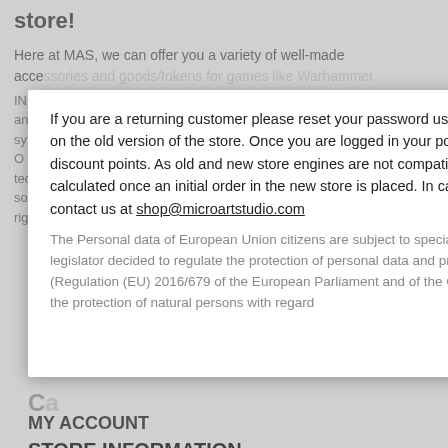store! Here at MAS, we can offer you a variety of well-made accessories and goods/tokens for games like Warhammer...
If you are a returning customer please reset your password using an address registered on the old version of the store. Once you are logged in your points system will show no discount points. As old and new store engines are not compatible the points are calculated once an initial order in the new store is placed. In case of any problems please contact us at shop@microartstudio.com
The Personal data of European Union citizens are subject to special protection. The European legislator decided to regulate the protection of personal data and privacy by issuing the GDPR (Regulation (EU) 2016/679 of the European Parliament and of the Council of 27th April 2016 on the protection of natural persons with regard
MY ACCOUNT
STORE INFORMATION